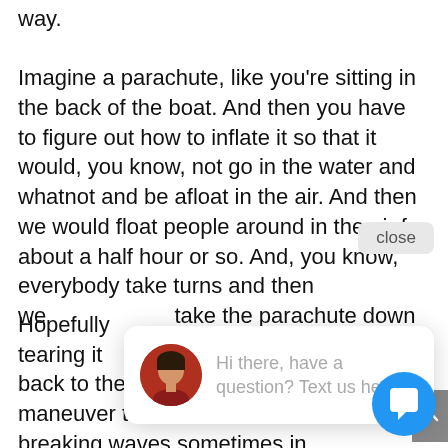way. Imagine a parachute, like you're sitting in the back of the boat. And then you have to figure out how to inflate it so that it would, you know, not go in the water and whatnot and be afloat in the air. And then we would float people around in the air for about a half hour or so. And, you know, everybody take turns and then we take the parachute down
Hopefully tearing it back to the beach and then have to maneuver the boat on the beach with breaking waves sometimes in different challenges to make sure we didn't like run over somebody and kill
[Figure (screenshot): Chat popup widget showing a woman's avatar photo and the text 'Hi there, have a question? Text us here.' with a close button and a blue chat bubble icon.]